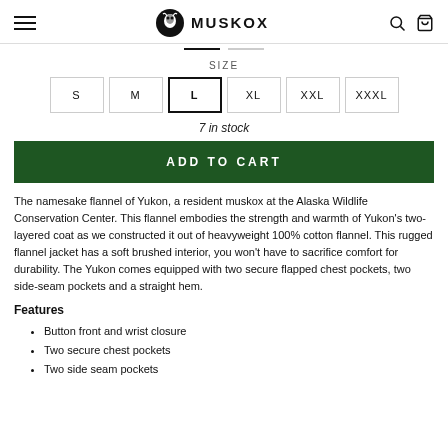MuskOx
SIZE
S  M  L  XL  XXL  XXXL
7 in stock
ADD TO CART
The namesake flannel of Yukon, a resident muskox at the Alaska Wildlife Conservation Center. This flannel embodies the strength and warmth of Yukon's two-layered coat as we constructed it out of heavyweight 100% cotton flannel. This rugged flannel jacket has a soft brushed interior, you won't have to sacrifice comfort for durability. The Yukon comes equipped with two secure flapped chest pockets, two side-seam pockets and a straight hem.
Features
Button front and wrist closure
Two secure chest pockets
Two side seam pockets